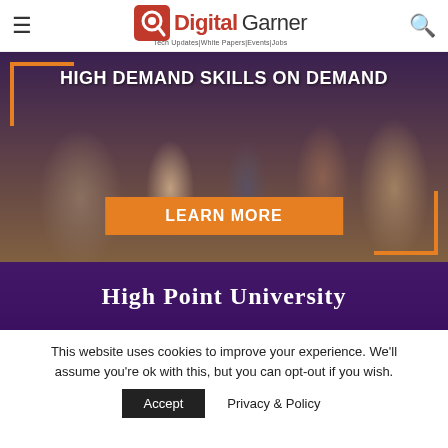Digital Garner — Tech Updates|White Papers|Events|Jobs
[Figure (photo): High Point University advertisement banner. Shows a group of professionals in business attire networking at an event. Top text: 'HIGH DEMAND SKILLS ON DEMAND'. Orange 'LEARN MORE' button in center. 'HIGH POINT UNIVERSITY' in white serif font on purple background at bottom. Orange corner bracket decorations.]
This website uses cookies to improve your experience. We'll assume you're ok with this, but you can opt-out if you wish.
Accept   Privacy & Policy